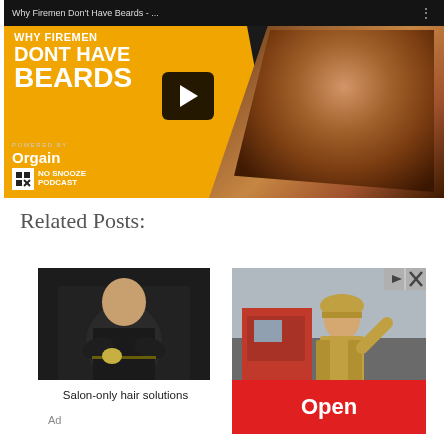[Figure (screenshot): YouTube video thumbnail for 'Why Firemen Don't Have Beards' - No Snooze Podcast, powered by Orgain. Shows a man with a beard on the right side and orange banner with bold white text on the left. A play button is visible in the center.]
Related Posts:
[Figure (photo): Photo of a firefighter in dark uniform standing with arms crossed against a dark background]
Salon-only hair solutions
Ad
[Figure (screenshot): Photo of a firefighter near a red fire truck, with an ad overlay showing a red 'Open' button and ad icons in the top right corner]